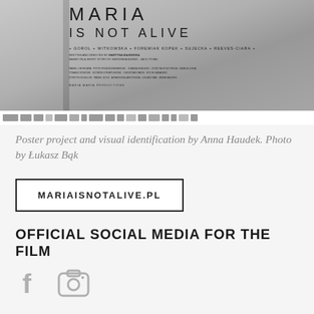[Figure (photo): Film poster for 'Maria Is Not Alive'. Black and white photo of a concrete/wall background. Poster shows title 'MARIA IS NOT ALIVE' in thin uppercase letters, cast names including GOROL, WITKOWSKA, FOREMIAK, KOPEK, SUJECKA, REEVES-CIARA, written and directed by MARTYNA MAJEWSKA, based on a short story by WERONIKA MUREK and JACK TOYAN. Bottom strip shows sponsor logos on white background.]
Poster project and visual identification by Anna Haudek. Photo by Łukasz Bąk
MARIAISNOTALIVE.PL
OFFICIAL SOCIAL MEDIA FOR THE FILM
[Figure (illustration): Social media icons: Facebook icon and camera/Instagram icon, both in gray.]